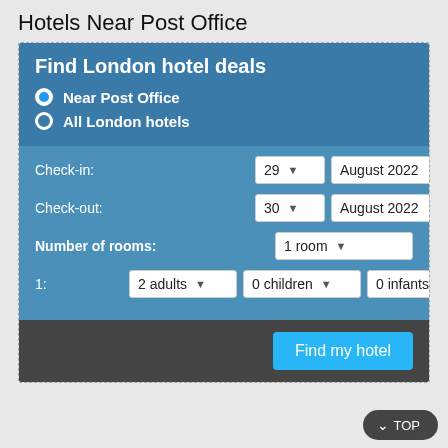Hotels Near Post Office
Find London hotel deals
Near Post Office
All London hotels
Check-in: 29 ▼  August 2022 ▼
Check-out: 30 ▼  August 2022 ▼
Number of rooms: 1 room ▼
1:  2 adults ▼  0 children ▼  0 infants ▼
Find my hotel
^ TOP